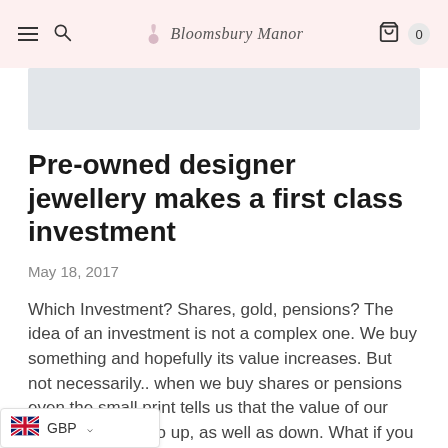Bloomsbury Manor
[Figure (illustration): Gray banner/hero image area below the navigation header]
Pre-owned designer jewellery makes a first class investment
May 18, 2017
Which Investment? Shares, gold, pensions? The idea of an investment is not a complex one. We buy something and hopefully its value increases. But not necessarily.. when we buy shares or pensions even the small print tells us that the value of our investment can go up, as well as down. What if you could buy something now that would increase in value and you could wear it whilst you owned it?